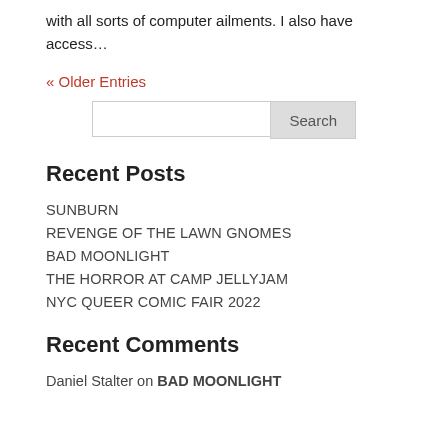with all sorts of computer ailments. I also have access…
« Older Entries
Search
Recent Posts
SUNBURN
REVENGE OF THE LAWN GNOMES
BAD MOONLIGHT
THE HORROR AT CAMP JELLYJAM
NYC QUEER COMIC FAIR 2022
Recent Comments
Daniel Stalter on BAD MOONLIGHT